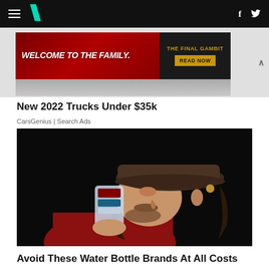HuffPost navigation bar with hamburger menu, logo, Facebook and Twitter icons
[Figure (screenshot): Advertisement banner: 'WELCOME TO THE FAMILY.' on red background with 'THE FINAL GAMBIT / READ NOW' on dark background]
New 2022 Trucks Under $35k
CarsGenius | Search Ads
[Figure (photo): Man wearing a dark cap and red jacket drinking from a plastic water bottle against a dark background]
Avoid These Water Bottle Brands At All Costs
HealthyGem